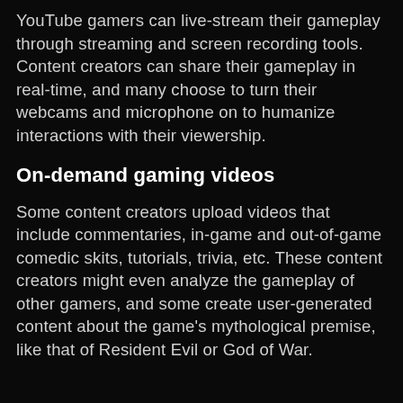YouTube gamers can live-stream their gameplay through streaming and screen recording tools. Content creators can share their gameplay in real-time, and many choose to turn their webcams and microphone on to humanize interactions with their viewership.
On-demand gaming videos
Some content creators upload videos that include commentaries, in-game and out-of-game comedic skits, tutorials, trivia, etc. These content creators might even analyze the gameplay of other gamers, and some create user-generated content about the game's mythological premise, like that of Resident Evil or God of War.